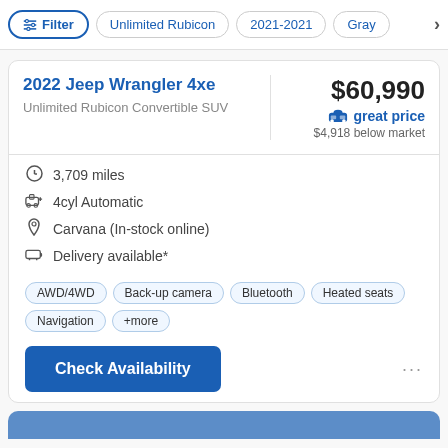Filter | Unlimited Rubicon | 2021-2021 | Gray
2022 Jeep Wrangler 4xe
Unlimited Rubicon Convertible SUV
$60,990
great price
$4,918 below market
3,709 miles
4cyl Automatic
Carvana (In-stock online)
Delivery available*
AWD/4WD   Back-up camera   Bluetooth   Heated seats   Navigation   +more
Check Availability